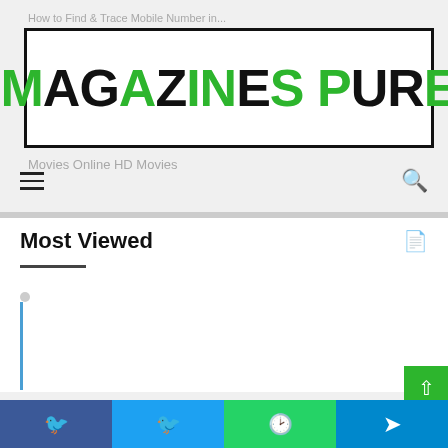[Figure (logo): Magazines Pure logo — mixed green and black bold uppercase text inside a black border rectangle]
How to Find & Trace Mobile Number in...
Movies Online HD Movies
Most Viewed
February 7, 2022
Kuttyweb 2022 – Download Tamil Movies and Songs for FREE
December 24, 2021